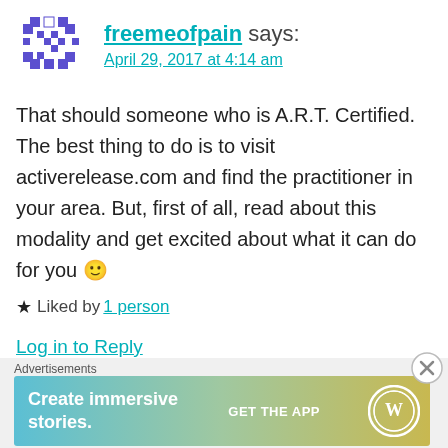[Figure (illustration): Blue pixel art avatar icon for user freemeofpain]
freemeofpain says:
April 29, 2017 at 4:14 am
That should someone who is A.R.T. Certified. The best thing to do is to visit activerelease.com and find the practitioner in your area. But, first of all, read about this modality and get excited about what it can do for you 🙂
★ Liked by 1 person
Log in to Reply
Advertisements
[Figure (illustration): WordPress advertisement banner: 'Create immersive stories. GET THE APP' with WordPress logo]